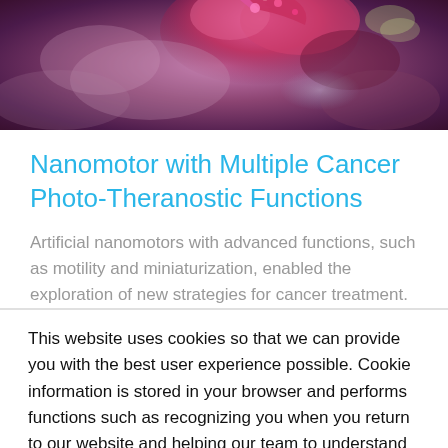[Figure (photo): Close-up microscopic/medical image with pink, purple, and dark red tones, showing what appears to be cancer cells or biological material at the nano scale.]
Nanomotor with Multiple Cancer Photo-Theranostic Functions
Artificial nanomotors with advanced functions, such as motility and miniaturization, enabled the exploration of new strategies for cancer treatment. However, these nanorobots do not contain multiple functions that could [...]
This website uses cookies so that we can provide you with the best user experience possible. Cookie information is stored in your browser and performs functions such as recognizing you when you return to our website and helping our team to understand which sections of the website you find most interesting and useful. NanoApps Medical Inc. Cookie Policy
Accept